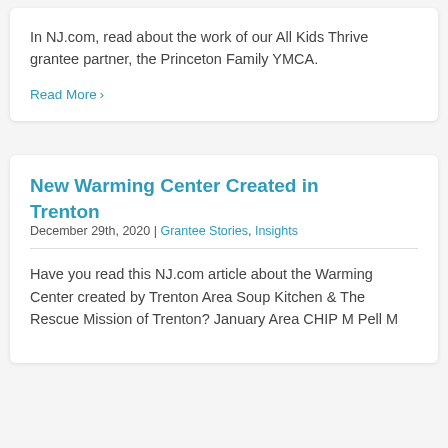In NJ.com, read about the work of our All Kids Thrive grantee partner, the Princeton Family YMCA.
Read More ›
New Warming Center Created in Trenton
December 29th, 2020  |  Grantee Stories, Insights
Have you read this NJ.com article about the Warming Center created by Trenton Area Soup Kitchen & The Rescue Mission of Trenton? January Area CHIP M Pell M